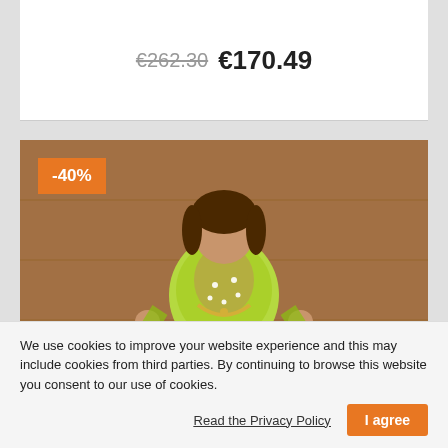€262.30 €170.49
[Figure (photo): Woman wearing an elaborate ballroom dance dress in black, dark green, and neon yellow/green with feathered hem and neon green floral bodice embellishments. A -40% discount badge is shown in the top left corner of the image.]
We use cookies to improve your website experience and this may include cookies from third parties. By continuing to browse this website you consent to our use of cookies.
Read the Privacy Policy
I agree